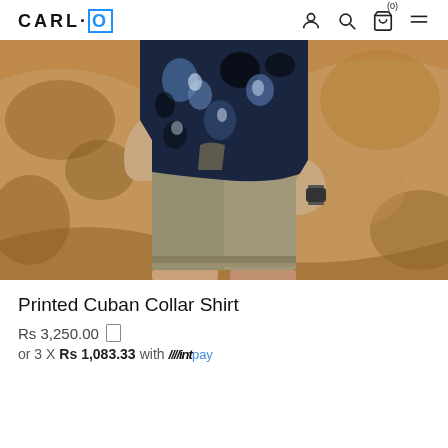CARL·O — navigation header with logo, user, search, cart (0), and menu icons
[Figure (photo): A man wearing a printed blue floral Cuban collar shirt and khaki/olive shorts, standing against a marble-textured brown wall. The photo is cropped to show the torso and legs only.]
Printed Cuban Collar Shirt
Rs 3,250.00
or 3 X Rs 1,083.33 with mintpay